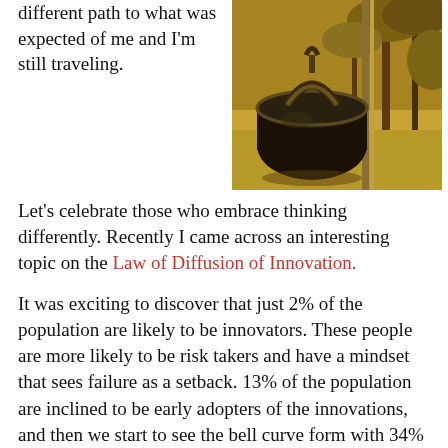different path to what was expected of me and I'm still traveling.
[Figure (photo): A vintage water pump or bell-shaped metal vessel hanging outdoors, surrounded by golden/yellow foliage and trees in warm sunlight.]
Let's celebrate those who embrace thinking differently. Recently I came across an interesting topic on the Law of Diffusion of Innovation.
It was exciting to discover that just 2% of the population are likely to be innovators. These people are more likely to be risk takers and have a mindset that sees failure as a setback. 13% of the population are inclined to be early adopters of the innovations, and then we start to see the bell curve form with 34% on each side of the peak as an early majority/cynical majority with the remaining 16% suspicious about the innovations and the inventors.
Martin Luther King told us about what he believed and gave